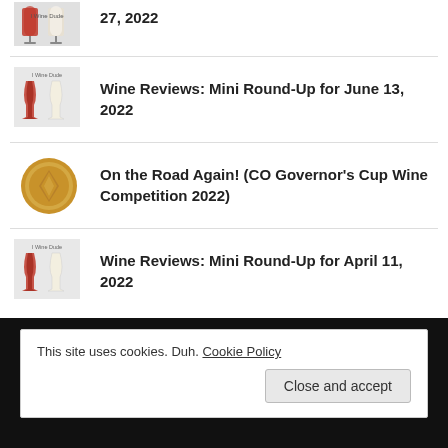27, 2022
Wine Reviews: Mini Round-Up for June 13, 2022
On the Road Again! (CO Governor's Cup Wine Competition 2022)
Wine Reviews: Mini Round-Up for April 11, 2022
This site uses cookies. Duh. Cookie Policy
Close and accept